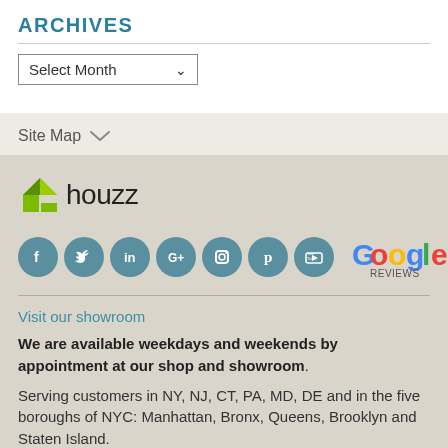ARCHIVES
[Figure (other): Select Month dropdown selector]
Site Map
[Figure (logo): Houzz logo with green icon and social media icons (Facebook, Twitter, LinkedIn, Google+, Instagram, Pinterest, YouTube) plus Google Reviews logo]
Visit our showroom
We are available weekdays and weekends by appointment at our shop and showroom.
Serving customers in NY, NJ, CT, PA, MD, DE and in the five boroughs of NYC: Manhattan, Bronx, Queens, Brooklyn and Staten Island.